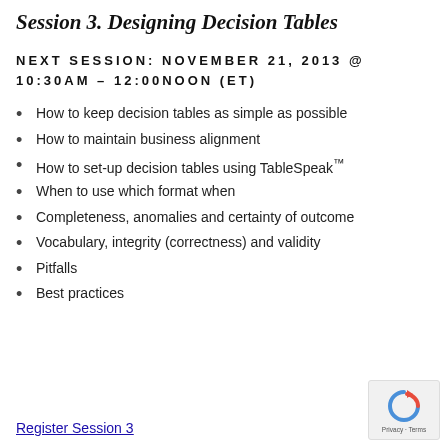Session 3. Designing Decision Tables
NEXT SESSION: NOVEMBER 21, 2013 @ 10:30AM – 12:00NOON (ET)
How to keep decision tables as simple as possible
How to maintain business alignment
How to set-up decision tables using TableSpeak™
When to use which format when
Completeness, anomalies and certainty of outcome
Vocabulary, integrity (correctness) and validity
Pitfalls
Best practices
Register Session 3